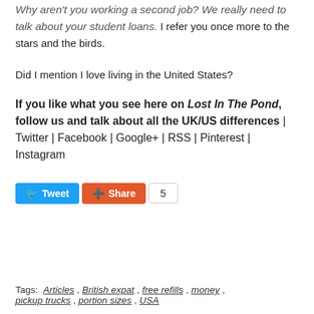Why aren't you working a second job? We really need to talk about your student loans. I refer you once more to the stars and the birds.
Did I mention I love living in the United States?
If you like what you see here on Lost In The Pond, follow us and talk about all the UK/US differences | Twitter | Facebook | Google+ | RSS | Pinterest | Instagram
[Figure (other): Social sharing buttons: Tweet button (blue), Share button (orange/red), and count badge showing 5]
Tags:  Articles ,  British expat ,  free refills ,  money ,  pickup trucks ,  portion sizes ,  USA